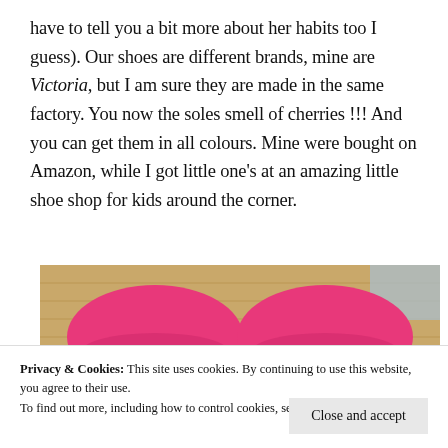have to tell you a bit more about her habits too I guess). Our shoes are different brands, mine are Victoria, but I am sure they are made in the same factory. You now the soles smell of cherries !!! And you can get them in all colours. Mine were bought on Amazon, while I got little one's at an amazing little shoe shop for kids around the corner.
[Figure (photo): Overhead photo showing two pink shoes/slippers on a wooden floor. The tops of the shoes are bright pink/magenta. There is a blue-grey corner visible at upper right. The bottom of the image shows more pink fabric.]
Privacy & Cookies: This site uses cookies. By continuing to use this website, you agree to their use.
To find out more, including how to control cookies, see here: Cookie Policy